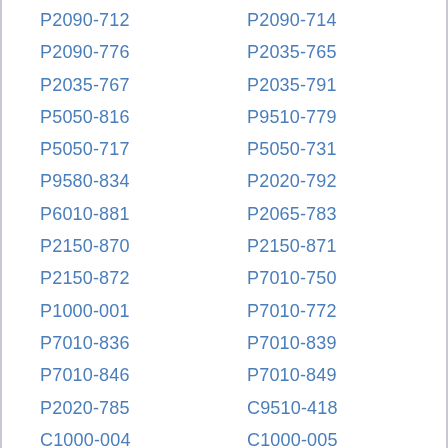P2090-712   P2090-714
P2090-776   P2035-765
P2035-767   P2035-791
P5050-816   P9510-779
P5050-717   P5050-731
P9580-834   P2020-792
P6010-881   P2065-783
P2150-870   P2150-871
P2150-872   P7010-750
P1000-001   P7010-772
P7010-836   P7010-839
P7010-846   P7010-849
P2020-785   C9510-418
C1000-004   C1000-005
C1000-010   C9060-200
M1000-007   M1000-015
M1000-016   M1000-017
P1000-003   P1000-004